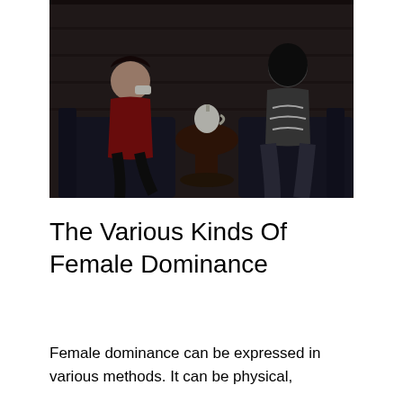[Figure (photo): Two people in a dimly lit room with dark wood paneling. On the left, a woman in a red corset and black stockings sits in a leather chair holding a teacup. In the center is a dark wooden table with a white teapot. On the right, a man in a black hood/mask, sleeveless shirt, and jeans sits in a chair with ropes around him.]
The Various Kinds Of Female Dominance
Female dominance can be expressed in various methods. It can be physical,